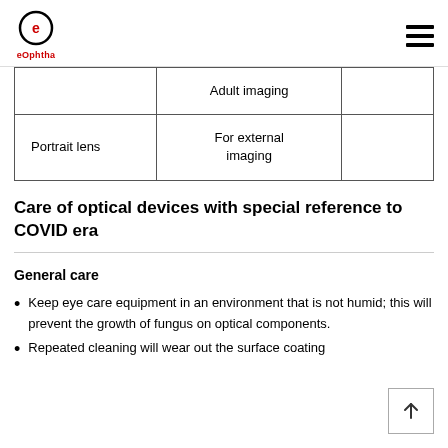eOphtha
|  |  |  |
| --- | --- | --- |
|  | Adult imaging |  |
| Portrait lens | For external imaging |  |
Care of optical devices with special reference to COVID era
General care
Keep eye care equipment in an environment that is not humid; this will prevent the growth of fungus on optical components.
Repeated cleaning will wear out the surface coating